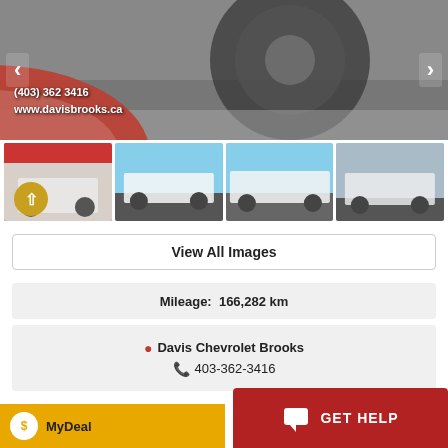[Figure (photo): Main vehicle photo showing undercarriage/wheel of a white truck, with navigation arrows and dealer contact info overlay]
(403) 362 3416
www.davisbrooks.ca
[Figure (photo): Thumbnail 1: White Ram truck front view at dealer lot]
[Figure (photo): Thumbnail 2: White Ram truck side view in parking lot]
[Figure (photo): Thumbnail 3: White Ram truck rear-side view in parking lot]
[Figure (photo): Thumbnail 4: White Ram truck rear view in parking lot]
View All Images
Mileage:  166,282 km
Davis Chevrolet Brooks
403-362-3416
MyDeal
GET HELP